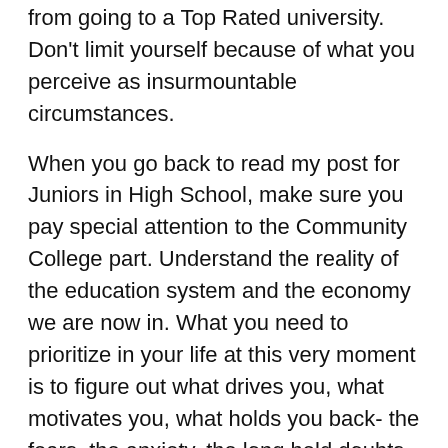from going to a Top Rated university.  Don't limit yourself because of what you perceive as insurmountable circumstances.
When you go back to read my post for Juniors in High School, make sure you pay special attention to the Community College part.  Understand the reality of the education system and the economy we are now in.  What you need to prioritize in your life at this very moment is to figure out what drives you, what motivates you, what holds you back- the fears, the anxiety, the long held doubts.  You need to confront yourself and prepare yourself to be a new person.
You need God in your life not drama.  You need solitude not social networks.  You need reflection not affection.  You need to prioritize not to solely find excitement in your life.  You must learn to master yourself if you want